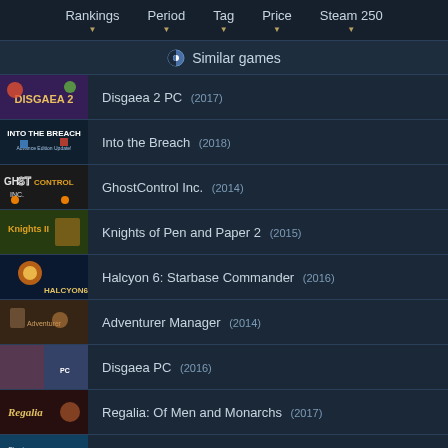Rankings  Period  Tag  Price  Steam 250
Similar games
Disgaea 2 PC (2017)
Into the Breach (2018)
GhostControl Inc. (2014)
Knights of Pen and Paper 2 (2015)
Halcyon 6: Starbase Commander (2016)
Adventurer Manager (2014)
Disgaea PC (2016)
Regalia: Of Men and Monarchs (2017)
Phantom Brave PC (2016)
Party Tycoon (2017)